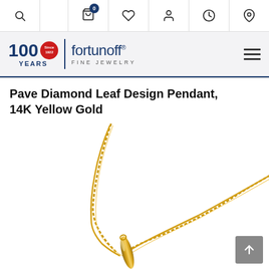Fortunoff Fine Jewelry - navigation bar with search, cart, wishlist, account, history, location icons
[Figure (logo): Fortunoff Fine Jewelry logo - 100 Years Since 1922 badge with blue text and red circular emblem, blue vertical divider, 'fortunoff FINE JEWELRY' text in navy blue]
Pave Diamond Leaf Design Pendant, 14K Yellow Gold
[Figure (photo): Product photo of a 14K yellow gold pendant with pave diamond leaf design on a box chain necklace, shown on white background. The gold chain curves from upper right to the pendant in the lower center. A gray scroll-to-top button with an upward arrow is in the lower right corner.]